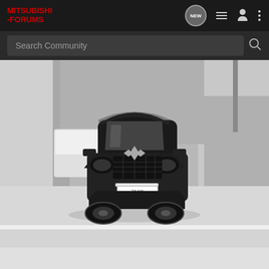MITSUBISHI-FORUMS — navigation bar with NEW, list, user, and menu icons
Search Community
[Figure (photo): Black and white front-facing photo of a dark Mitsubishi SUV (Outlander) with a license plate reading 2098, bull bar with auxiliary lights, parked in a narrow alleyway between concrete walls. Another white van visible in background.]
[Figure (photo): Partial view of second photo, light grey background, beginning of another car image.]